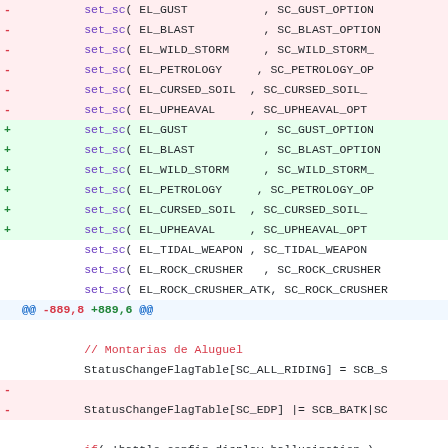- set_sc( EL_GUST , SC_GUST_OPTION
- set_sc( EL_BLAST , SC_BLAST_OPTION
- set_sc( EL_WILD_STORM , SC_WILD_STORM_
- set_sc( EL_PETROLOGY , SC_PETROLOGY_OP
- set_sc( EL_CURSED_SOIL , SC_CURSED_SOIL_
- set_sc( EL_UPHEAVAL , SC_UPHEAVAL_OPT
+ set_sc( EL_GUST , SC_GUST_OPTION
+ set_sc( EL_BLAST , SC_BLAST_OPTION
+ set_sc( EL_WILD_STORM , SC_WILD_STORM_
+ set_sc( EL_PETROLOGY , SC_PETROLOGY_OP
+ set_sc( EL_CURSED_SOIL , SC_CURSED_SOIL_
+ set_sc( EL_UPHEAVAL , SC_UPHEAVAL_OPT
set_sc( EL_TIDAL_WEAPON , SC_TIDAL_WEAPON
set_sc( EL_ROCK_CRUSHER , SC_ROCK_CRUSHER
set_sc( EL_ROCK_CRUSHER_ATK, SC_ROCK_CRUSHER
@@ -889,8 +889,6 @@
// Montarias de Aluguel
StatusChangeFlagTable[SC_ALL_RIDING] = SCB_S
-
- StatusChangeFlagTable[SC_EDP] |= SCB_BATK|SC
if( !battle_config.display_hallucination )
StatusIconChangeTable[SC_HALLUCINAT
@@ -2212,6 +2210,7 @@
sd->critical_rate = sd->hit_rate = sd->flee
sd->def_rate = sd->def2_rate = sd->mdef_rate